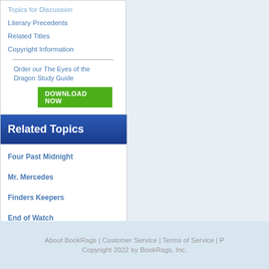Topics for Discussion
Literary Precedents
Related Titles
Copyright Information
Order our The Eyes of the Dragon Study Guide
Related Topics
Four Past Midnight
Mr. Mercedes
Finders Keepers
End of Watch
Gwendy's Button Box
About BookRags | Customer Service | Terms of Service | P
Copyright 2022 by BookRags, Inc.